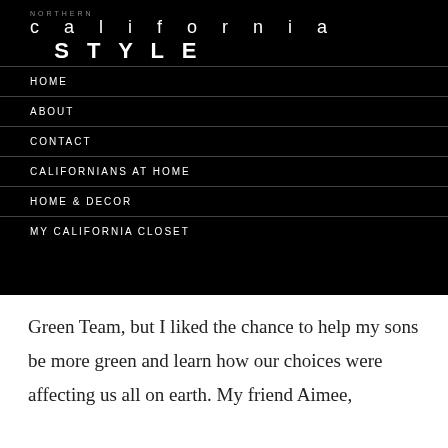NORTHERN california STYLE
HOME
ABOUT
CONTACT
CALIFORNIANS AT HOME
HOME & DECOR
MY CALIFORNIA CLOSET
Green Team, but I liked the chance to help my sons be more green and learn how our choices were affecting us all on earth. My friend Aimee,